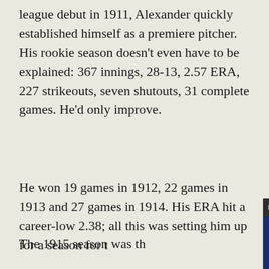league debut in 1911, Alexander quickly established himself as a premiere pitcher. His rookie season doesn't even have to be explained: 367 innings, 28-13, 2.57 ERA, 227 strikeouts, seven shutouts, 31 complete games. He'd only improve.
He won 19 games in 1912, 22 games in 1913 and 27 games in 1914. His ERA hit a career-low 2.38; all this was setting him up for a season for t[he ages.]
The 1915 season was th[e greatest in Phillies] history, as they won thei[r first pennant,] behind Alexander's gold[en arm. His numbers were] otherworldly: 376.1 inni[ngs, 31 wins, 12 shutouts, 36 complete] games. Seriously. His ER[A was 1.22, and he] won the pitching Triple [Crown.]
[Figure (screenshot): Video popup overlay showing 'Mets vs. Phillies Highlights - Alec Bohm, ...' with a thumbnail of Mets and Phillies team logos on a split blue/red background, with a mute button icon visible.]